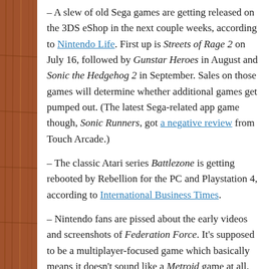– A slew of old Sega games are getting released on the 3DS eShop in the next couple weeks, according to Nintendo Life. First up is Streets of Rage 2 on July 16, followed by Gunstar Heroes in August and Sonic the Hedgehog 2 in September. Sales on those games will determine whether additional games get pumped out. (The latest Sega-related app game though, Sonic Runners, got a negative review from Touch Arcade.)
– The classic Atari series Battlezone is getting rebooted by Rebellion for the PC and Playstation 4, according to International Business Times.
– Nintendo fans are pissed about the early videos and screenshots of Federation Force. It's supposed to be a multiplayer-focused game which basically means it doesn't sound like a Metroid game at all. For more on the controversy. Wired has an interview with the man behind the game.
– Speaking of the Big N, their next console could hit stores in J... Digitimes.